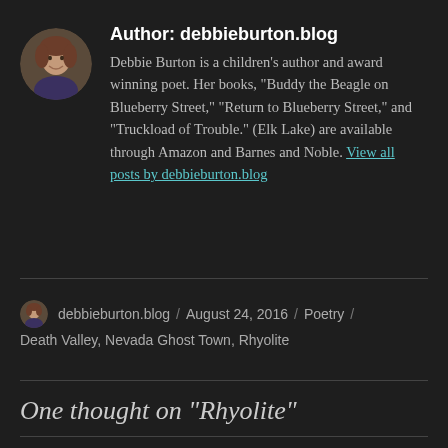[Figure (photo): Circular avatar photo of Debbie Burton, a woman with short brown hair]
Author: debbieburton.blog
Debbie Burton is a children's author and award winning poet. Her books, "Buddy the Beagle on Blueberry Street," "Return to Blueberry Street," and "Truckload of Trouble." (Elk Lake) are available through Amazon and Barnes and Noble. View all posts by debbieburton.blog
debbieburton.blog / August 24, 2016 / Poetry / Death Valley, Nevada Ghost Town, Rhyolite
One thought on “Rhyolite”